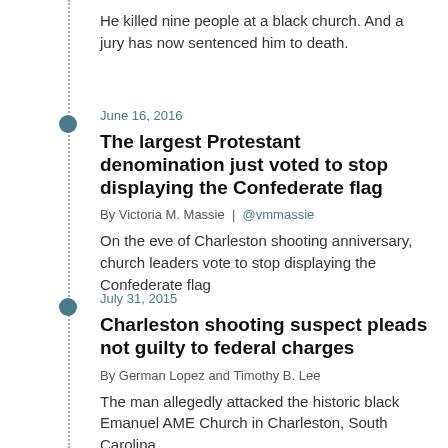He killed nine people at a black church. And a jury has now sentenced him to death.
June 16, 2016
The largest Protestant denomination just voted to stop displaying the Confederate flag
By Victoria M. Massie | @vmmassie
On the eve of Charleston shooting anniversary, church leaders vote to stop displaying the Confederate flag
July 31, 2015
Charleston shooting suspect pleads not guilty to federal charges
By German Lopez and Timothy B. Lee
The man allegedly attacked the historic black Emanuel AME Church in Charleston, South Carolina.